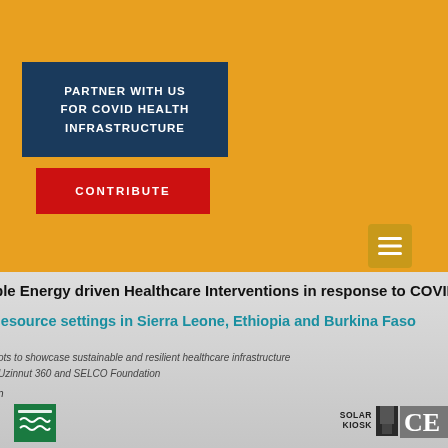SELCO Foundation
PARTNER WITH US FOR COVID HEALTH INFRASTRUCTURE
CONTRIBUTE
ble Energy driven Healthcare Interventions in response to COVID
hesource settings in Sierra Leone, Ethiopia and Burkina Faso
ots to showcase sustainable and resilient healthcare infrastructure
Uzinnut 360 and SELCO Foundation
SOLAR KIOSK